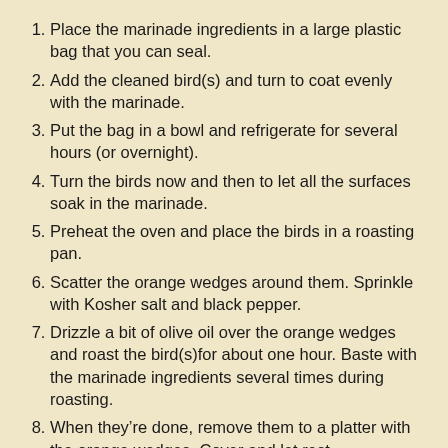Place the marinade ingredients in a large plastic bag that you can seal.
Add the cleaned bird(s) and turn to coat evenly with the marinade.
Put the bag in a bowl and refrigerate for several hours (or overnight).
Turn the birds now and then to let all the surfaces soak in the marinade.
Preheat the oven and place the birds in a roasting pan.
Scatter the orange wedges around them. Sprinkle with Kosher salt and black pepper.
Drizzle a bit of olive oil over the orange wedges and roast the bird(s)for about one hour. Baste with the marinade ingredients several times during roasting.
When they're done, remove them to a platter with the orange wedges. Cover and let rest.
Skim off the much of the fat from the pan juices. Return to the oven and let the juices reduce slightly to make a thin gravy.